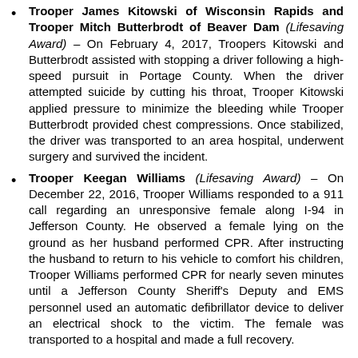Trooper James Kitowski of Wisconsin Rapids and Trooper Mitch Butterbrodt of Beaver Dam (Lifesaving Award) – On February 4, 2017, Troopers Kitowski and Butterbrodt assisted with stopping a driver following a high-speed pursuit in Portage County. When the driver attempted suicide by cutting his throat, Trooper Kitowski applied pressure to minimize the bleeding while Trooper Butterbrodt provided chest compressions. Once stabilized, the driver was transported to an area hospital, underwent surgery and survived the incident.
Trooper Keegan Williams (Lifesaving Award) – On December 22, 2016, Trooper Williams responded to a 911 call regarding an unresponsive female along I-94 in Jefferson County. He observed a female lying on the ground as her husband performed CPR. After instructing the husband to return to his vehicle to comfort his children, Trooper Williams performed CPR for nearly seven minutes until a Jefferson County Sheriff's Deputy and EMS personnel used an automatic defibrillator device to deliver an electrical shock to the victim. The female was transported to a hospital and made a full recovery.